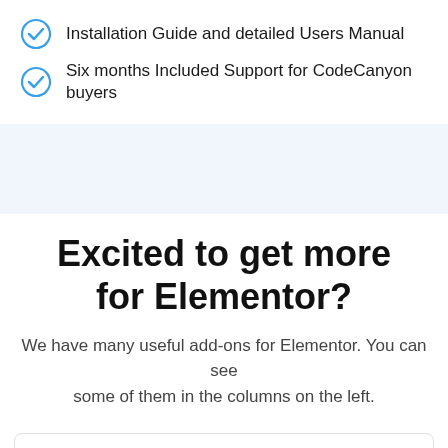Installation Guide and detailed Users Manual
Six months Included Support for CodeCanyon buyers
Excited to get more for Elementor?
We have many useful add-ons for Elementor. You can see some of them in the columns on the left.
[Figure (illustration): Purple rounded square icon box with a white image/gallery icon inside]